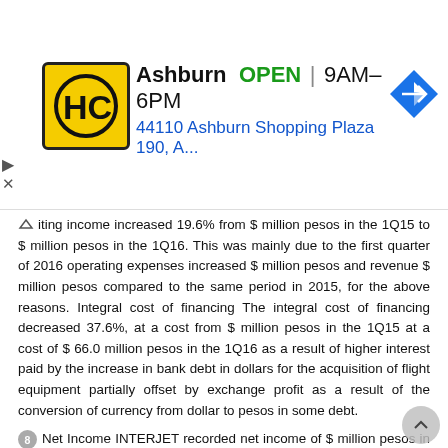[Figure (other): Advertisement banner for HC Ashburn: OPEN 9AM–6PM, 44110 Ashburn Shopping Plaza 190, A... with navigation icon]
iting income increased 19.6% from $ million pesos in the 1Q15 to $ million pesos in the 1Q16. This was mainly due to the first quarter of 2016 operating expenses increased $ million pesos and revenue $ million pesos compared to the same period in 2015, for the above reasons. Integral cost of financing The integral cost of financing decreased 37.6%, at a cost from $ million pesos in the 1Q15 at a cost of $ 66.0 million pesos in the 1Q16 as a result of higher interest paid by the increase in bank debt in dollars for the acquisition of flight equipment partially offset by exchange profit as a result of the conversion of currency from dollar to pesos in some debt.
8 Net Income INTERJET recorded net income of $ million pesos in the 1Q16 compared to net income from $ million pesos generated in the 1Q15. Comments to the statement of financial position and liquidity At March 31, 2016 the company achieved $ 1,618.4 million pesos in cash